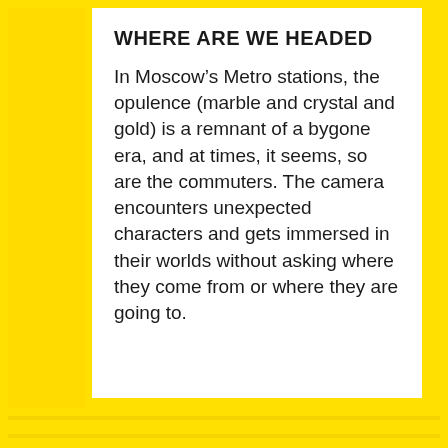WHERE ARE WE HEADED
In Moscow’s Metro stations, the opulence (marble and crystal and gold) is a remnant of a bygone era, and at times, it seems, so are the commuters. The camera encounters unexpected characters and gets immersed in their worlds without asking where they come from or where they are going to.